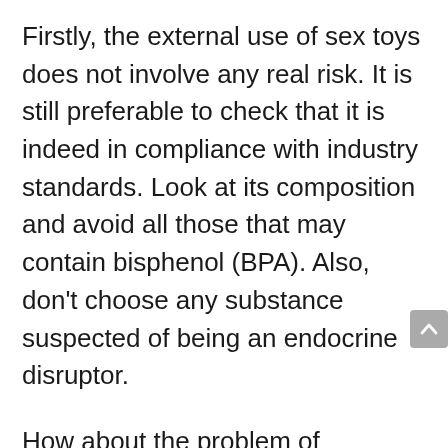Firstly, the external use of sex toys does not involve any real risk. It is still preferable to check that it is indeed in compliance with industry standards. Look at its composition and avoid all those that may contain bisphenol (BPA). Also, don't choose any substance suspected of being an endocrine disruptor.
How about the problem of addiction? The goal of sex toys is simply to give pleasure. This object is not an end in itself. The only risk is that banana masturbation (with one hand) no longer leads to enjoyment. This is